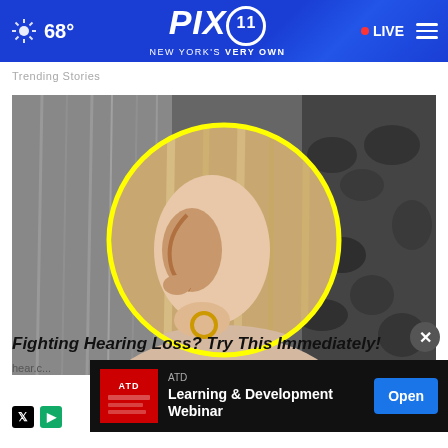PIX11 NEW YORK'S VERY OWN — 68° — LIVE
Trending Stories
[Figure (photo): Close-up photo of a human ear with a yellow circle highlight, against a black and white background of hair and foliage. The ear has a small gold hoop earring.]
Fighting Hearing Loss? Try This Immediately!
hear.c...
[Figure (screenshot): Advertisement banner for ATD Learning & Development Webinar with an Open button]